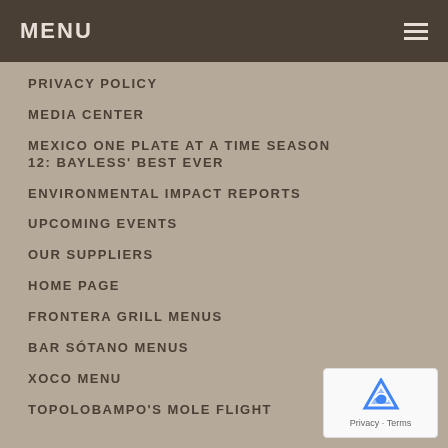MENU
PRIVACY POLICY
MEDIA CENTER
MEXICO ONE PLATE AT A TIME SEASON 12: BAYLESS' BEST EVER
ENVIRONMENTAL IMPACT REPORTS
UPCOMING EVENTS
OUR SUPPLIERS
HOME PAGE
FRONTERA GRILL MENUS
BAR SÓTANO MENUS
XOCO MENU
TOPOLOBAMPO'S MOLE FLIGHT